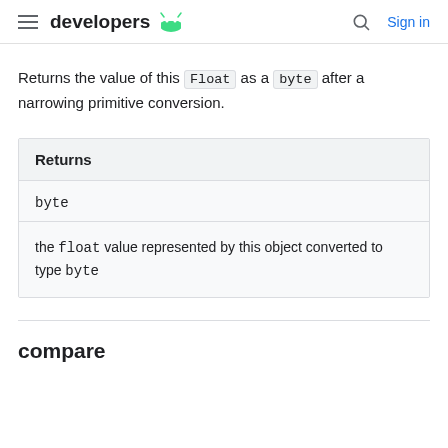developers [android logo] | Search | Sign in
Returns the value of this Float as a byte after a narrowing primitive conversion.
| Returns |
| --- |
| byte |
| the float value represented by this object converted to type byte |
compare